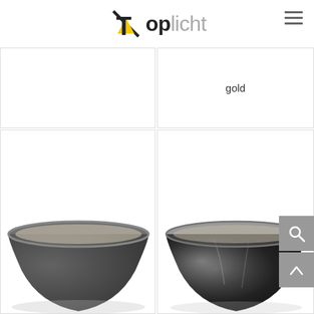[Figure (logo): Toplicht brand logo with yellow/black triangle arrow and 'Top' in bold black and 'licht' in grey]
gold
[Figure (photo): Dark grey velvet lamp shade, conical shape, viewed from slight angle]
[Figure (photo): Black crushed velvet lamp shade, conical shape, viewed from slight angle]